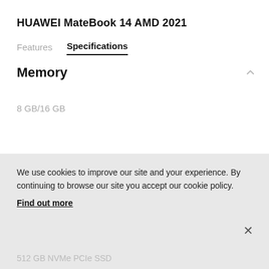HUAWEI MateBook 14 AMD 2021
Features    Specifications
Memory
8 GB/16 GB
Storage
We use cookies to improve our site and your experience. By continuing to browse our site you accept our cookie policy.
Find out more
512 GB NVMe PCIe SSD